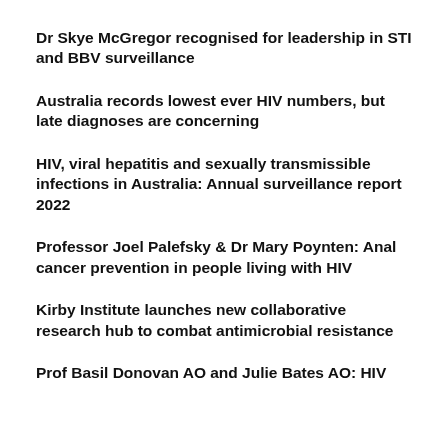Dr Skye McGregor recognised for leadership in STI and BBV surveillance
Australia records lowest ever HIV numbers, but late diagnoses are concerning
HIV, viral hepatitis and sexually transmissible infections in Australia: Annual surveillance report 2022
Professor Joel Palefsky & Dr Mary Poynten: Anal cancer prevention in people living with HIV
Kirby Institute launches new collaborative research hub to combat antimicrobial resistance
Prof Basil Donovan AO and Julie Bates AO: HIV